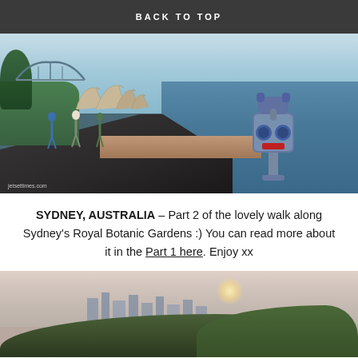BACK TO TOP
[Figure (photo): Waterfront walkway at Sydney's Royal Botanic Gardens with coin-operated binocular viewer in foreground, Opera House and Harbour Bridge visible in background, people walking along the promenade. Watermark text: jetsettimes.com]
SYDNEY, AUSTRALIA – Part 2 of the lovely walk along Sydney's Royal Botanic Gardens :) You can read more about it in the Part 1 here. Enjoy xx
[Figure (photo): Misty view of Sydney city skyline through trees in the Royal Botanic Gardens, with sunlight streaming through foliage.]